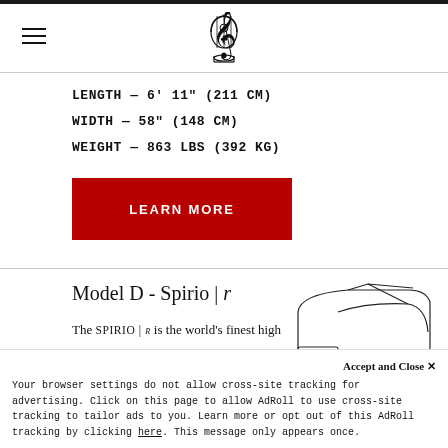Steinway & Sons logo header with hamburger menu
LENGTH — 6' 11" (211 cm)
WIDTH — 58" (148 cm)
WEIGHT — 863 lbs (392 kg)
LEARN MORE
Model D - Spirio | r
The SPIRIO | r is the world's finest high resolution player piano and is also capable of high resolution recording
[Figure (illustration): Line drawing of a Steinway Model D concert grand piano, top-down/side view showing the distinctive grand piano shape with lid open]
Accept and Close ✕
Your browser settings do not allow cross-site tracking for advertising. Click on this page to allow AdRoll to use cross-site tracking to tailor ads to you. Learn more or opt out of this AdRoll tracking by clicking here. This message only appears once.